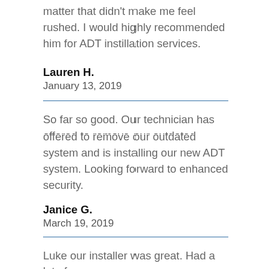matter that didn't make me feel rushed. I would highly recommended him for ADT instillation services.
Lauren H.
January 13, 2019
So far so good. Our technician has offered to remove our outdated system and is installing our new ADT system. Looking forward to enhanced security.
Janice G.
March 19, 2019
Luke our installer was great. Had a lot of